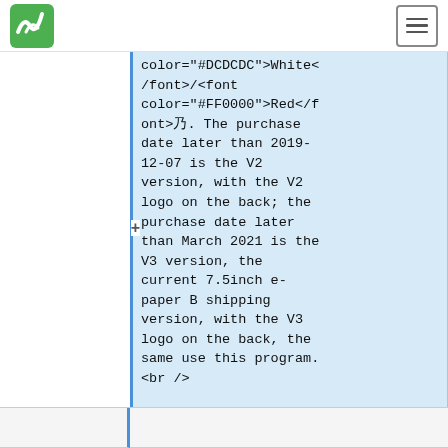Waveshare navigation header with logo and menu
color="#DCDCDC">White</font>/<font color="#FF0000">Red</font>乃. The purchase date later than 2019-12-07 is the V2 version, with the V2 logo on the back; the purchase date later than March 2021 is the V3 version, the current 7.5inch e-paper B shipping version, with the V3 logo on the back, the same use this program.
<br />